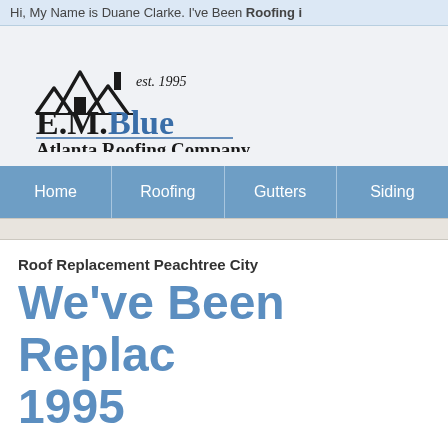Hi, My Name is Duane Clarke. I've Been Roofing i…
[Figure (logo): E.M. Blue Atlanta Roofing Company logo with house/roof icon and 'est. 1995' text]
Home | Roofing | Gutters | Siding
Roof Replacement Peachtree City
We've Been Replac… 1995